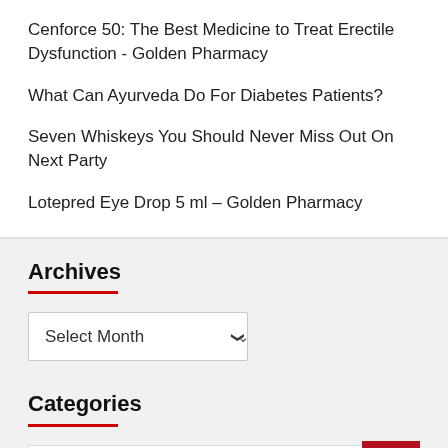Cenforce 50: The Best Medicine to Treat Erectile Dysfunction - Golden Pharmacy
What Can Ayurveda Do For Diabetes Patients?
Seven Whiskeys You Should Never Miss Out On Next Party
Lotepred Eye Drop 5 ml – Golden Pharmacy
Archives
Categories
Alcohol